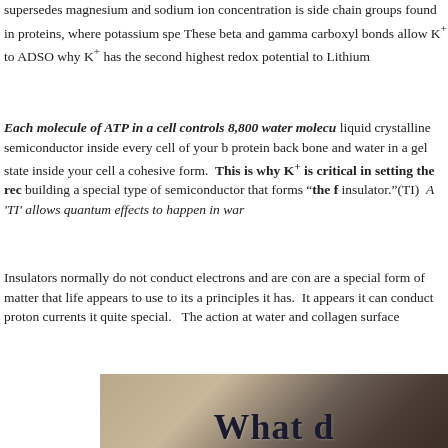supersedes magnesium and sodium ion concentration is side chain groups found in proteins, where potassium spe These beta and gamma carboxyl bonds allow K+ to ADSO why K+ has the second highest redox potential to Lithium
Each molecule of ATP in a cell controls 8,800 water molecu liquid crystalline semiconductor inside every cell of your b protein back bone and water in a gel state inside your cell a cohesive form.  This is why K+ is critical in setting the rec building a special type of semiconductor that forms "the f insulator."(TI)  A 'TI' allows quantum effects to happen in war
Insulators normally do not conduct electrons and are con are a special form of matter that life appears to use to its a principles it has.  It appears it can conduct proton currents it quite special.  The action at water and collagen surface
[Figure (photo): Partial image showing large bold text 'What d...' on a warm sandy/brown background, appears to be a section heading image.]